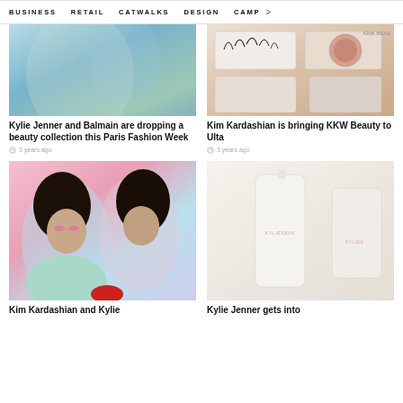BUSINESS   RETAIL   CATWALKS   DESIGN   CAMP >
[Figure (photo): Kylie Jenner in sparkly/sequined outfit, Paris Fashion Week themed photo]
Kylie Jenner and Balmain are dropping a beauty collection this Paris Fashion Week
3 years ago
[Figure (photo): KKW Beauty products: false eyelashes, eyeshadow compact, blush compact on cream background]
Kim Kardashian is bringing KKW Beauty to Ulta
3 years ago
[Figure (photo): Kim Kardashian and Kylie Jenner posing together with colorful makeup, pink and blue tones]
Kim Kardashian and Kylie
[Figure (photo): Kylie Skin white bottle and product on textured white/cream background]
Kylie Jenner gets into